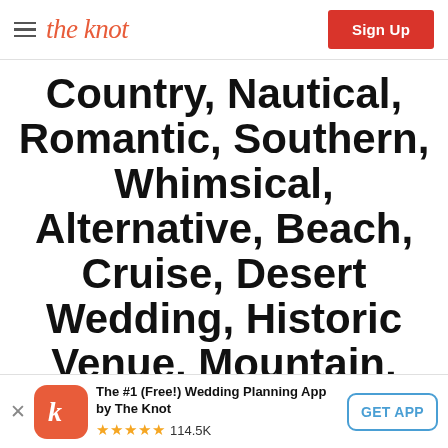the knot | Sign Up
Country, Nautical, Romantic, Southern, Whimsical, Alternative, Beach, Cruise, Desert Wedding, Historic Venue, Mountain, Religious , Vineyard & Winery, Ballroom. Spring Wedding
The #1 (Free!) Wedding Planning App by The Knot ★★★★★ 114.5K GET APP